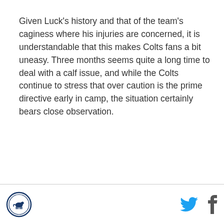Given Luck's history and that of the team's caginess where his injuries are concerned, it is understandable that this makes Colts fans a bit uneasy. Three months seems quite a long time to deal with a calf issue, and while the Colts continue to stress that over caution is the prime directive early in camp, the situation certainly bears close observation.
[Colts logo] [Twitter icon] [Facebook icon]